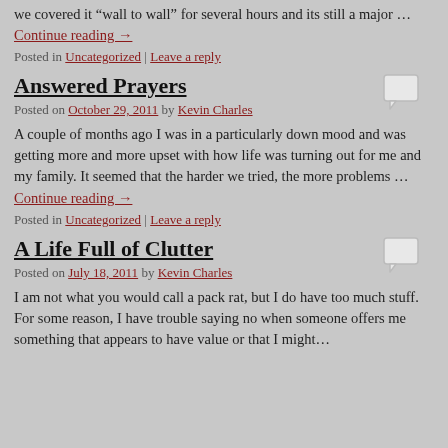we covered it “wall to wall” for several hours and its still a major …
Continue reading →
Posted in Uncategorized | Leave a reply
Answered Prayers
Posted on October 29, 2011 by Kevin Charles
A couple of months ago I was in a particularly down mood and was getting more and more upset with how life was turning out for me and my family. It seemed that the harder we tried, the more problems …
Continue reading →
Posted in Uncategorized | Leave a reply
A Life Full of Clutter
Posted on July 18, 2011 by Kevin Charles
I am not what you would call a pack rat, but I do have too much stuff. For some reason, I have trouble saying no when someone offers me something that appears to have value or that I might…